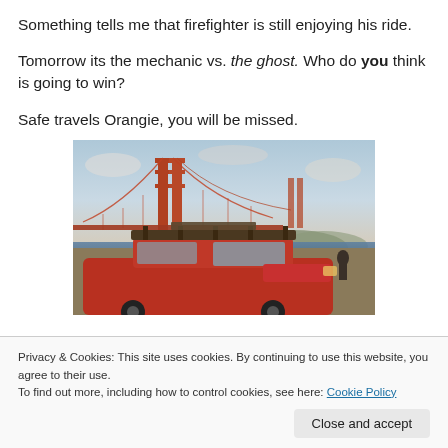Something tells me that firefighter is still enjoying his ride.
Tomorrow its the mechanic vs. the ghost. Who do you think is going to win?
Safe travels Orangie, you will be missed.
[Figure (photo): A red vintage SUV/wagon with a roof rack parked in front of the Golden Gate Bridge in San Francisco, viewed from a hillside overlook. The sky is partly cloudy with a warm sunset light.]
Privacy & Cookies: This site uses cookies. By continuing to use this website, you agree to their use.
To find out more, including how to control cookies, see here: Cookie Policy